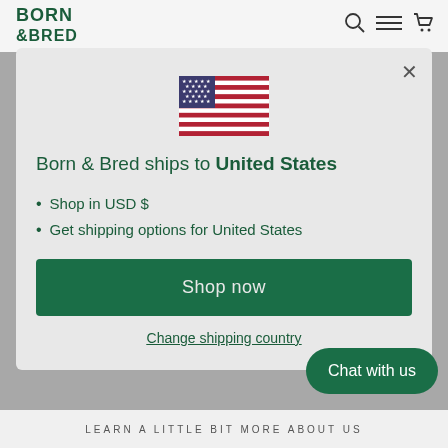BORN & BRED
[Figure (illustration): US flag emoji/icon centered in modal]
Born & Bred ships to United States
Shop in USD $
Get shipping options for United States
Shop now
Change shipping country
Chat with us
LEARN A LITTLE BIT MORE ABOUT US